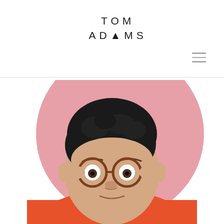TOM ADAMS
[Figure (photo): Portrait photo of a man with dark curly hair wearing round tortoiseshell glasses and an orange sweatshirt, holding his glasses with both hands, set against a pink circular background]